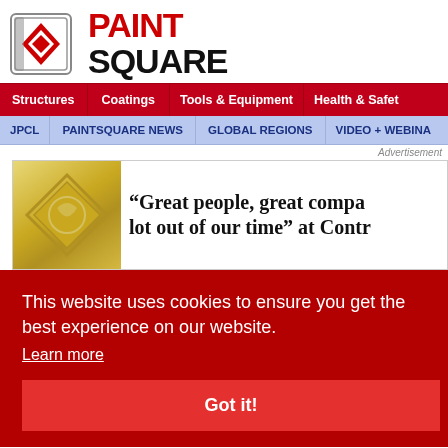[Figure (logo): PaintSquare logo with red diamond icon and bold PAINT SQUARE text]
Structures | Coatings | Tools & Equipment | Health & Safety
JPCL | PAINTSQUARE NEWS | GLOBAL REGIONS | VIDEO + WEBINARS
Advertisement
[Figure (screenshot): Advertisement banner with gold diamond logo and text: "Great people, great company, got a lot out of our time" at Contr...]
This website uses cookies to ensure you get the best experience on our website. Learn more
Got it!